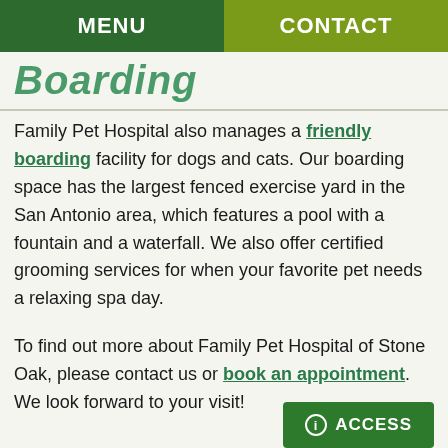MENU | CONTACT
Boarding
Family Pet Hospital also manages a friendly boarding facility for dogs and cats. Our boarding space has the largest fenced exercise yard in the San Antonio area, which features a pool with a fountain and a waterfall. We also offer certified grooming services for when your favorite pet needs a relaxing spa day.
To find out more about Family Pet Hospital of Stone Oak, please contact us or book an appointment. We look forward to your visit!